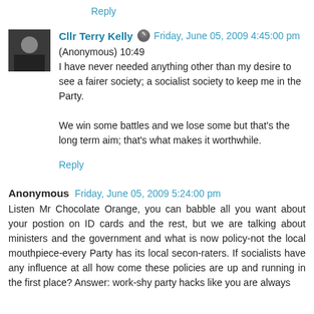Reply
Cllr Terry Kelly  Friday, June 05, 2009 4:45:00 pm
(Anonymous) 10:49
I have never needed anything other than my desire to see a fairer society; a socialist society to keep me in the Party.

We win some battles and we lose some but that's the long term aim; that's what makes it worthwhile.
Reply
Anonymous  Friday, June 05, 2009 5:24:00 pm
Listen Mr Chocolate Orange, you can babble all you want about your postion on ID cards and the rest, but we are talking about ministers and the government and what is now policy-not the local mouthpiece-every Party has its local secon-raters. If socialists have any influence at all how come these policies are up and running in the first place? Answer: work-shy party hacks like you are always